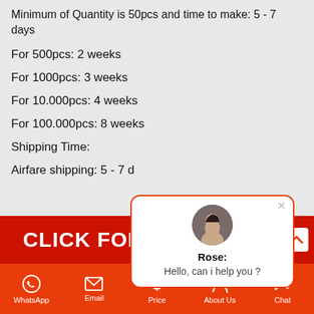Minimum of Quantity is 50pcs and time to make: 5 - 7 days
For 500pcs: 2 weeks
For 1000pcs: 3 weeks
For 10.000pcs: 4 weeks
For 100.000pcs: 8 weeks
Shipping Time:
Airfare shipping: 5 - 7 d
[Figure (screenshot): Chat popup with avatar of Rose saying 'Hello, can i help you ?']
[Figure (infographic): Red banner: CLICK FOR BEST PRICE! with yellow text on BEST PRICE]
WhatsApp  Email  Price  About Us  Chat